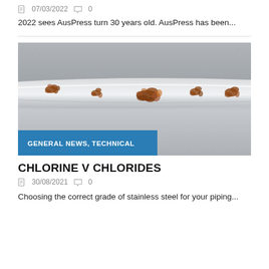07/03/2022  0
2022 sees AusPress turn 30 years old. AusPress has been...
[Figure (photo): Close-up photograph of rust/corrosion deposits on a metallic pipe surface, with a blue overlay banner reading GENERAL NEWS, TECHNICAL]
GENERAL NEWS, TECHNICAL
CHLORINE V CHLORIDES
30/08/2021  0
Choosing the correct grade of stainless steel for your piping...